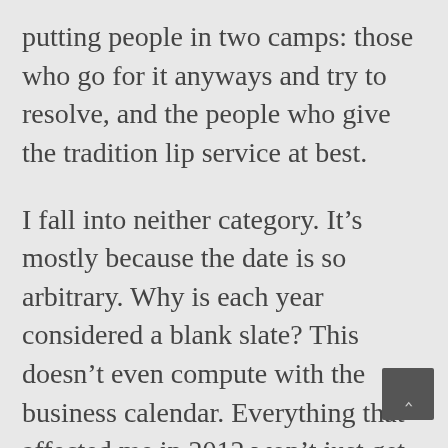putting people in two camps: those who go for it anyways and try to resolve, and the people who give the tradition lip service at best.
I fall into neither category. It’s mostly because the date is so arbitrary. Why is each year considered a blank slate? This doesn’t even compute with the business calendar. Everything that affected me in 2012 won’t just get up and leave for 2013. Looking at the new year has a new start is cute and fine, but for me, it doesn’t hold much water.